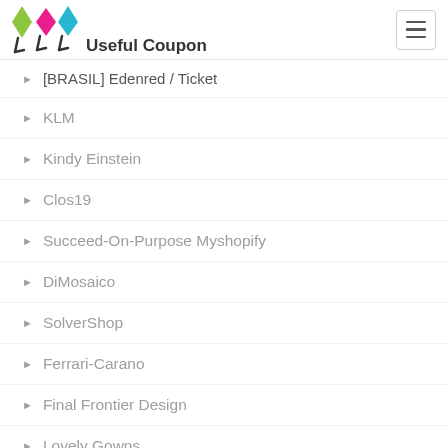Useful Coupon
[BRASIL] Edenred / Ticket
KLM
Kindy Einstein
Clos19
Succeed-On-Purpose Myshopify
DiMosaico
SolverShop
Ferrari-Carano
Final Frontier Design
Lovely Gowns
Tranzlabs
TUI NHS-gb